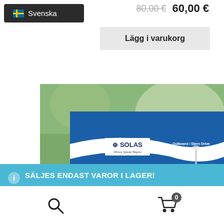80,00 € 60,00 €
Svenska
Lägg i varukorg
[Figure (photo): SOLAS brand propeller box with blue packaging showing 'SOLAS Where Speed Begins - Outboard/Stern Drive Aluminium Propellor' text, photographed outdoors with green trees in background]
SÄLJES ENDAST VAROR I LAGER!
Avvisa